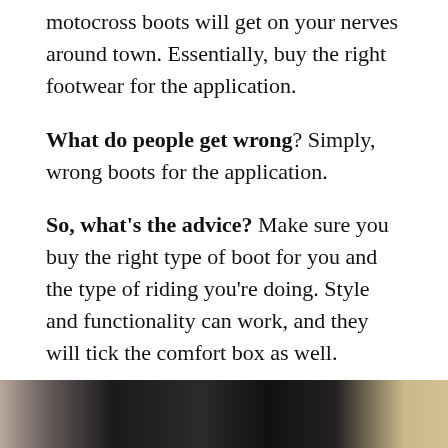motocross boots will get on your nerves around town. Essentially, buy the right footwear for the application.
What do people get wrong? Simply, wrong boots for the application.
So, what's the advice? Make sure you buy the right type of boot for you and the type of riding you're doing. Style and functionality can work, and they will tick the comfort box as well.
Buying motorcycle jeans and leathers
[Figure (photo): Bottom portion of a photograph showing motorcycle gear — appears to show jeans/leather trousers, partially visible at the bottom of the page.]